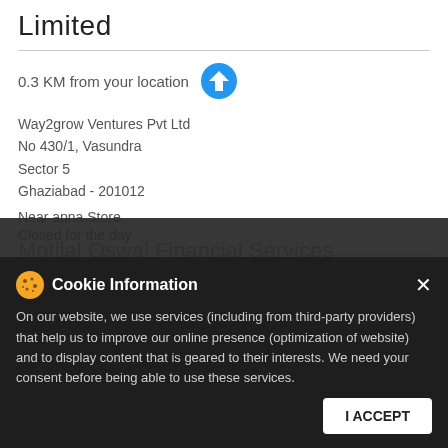Limited
0.3 KM from your location
Way2grow Ventures Pvt Ltd
No 430/1, Vasundra
Sector 5
Ghaziabad - 201012
Near apna Store
Closed for the day
CALL  MAP  DETAILS
Cookie Information
On our website, we use services (including from third-party providers) that help us to improve our online presence (optimization of website) and to display content that is geared to their interests. We need your consent before being able to use these services.
I ACCEPT